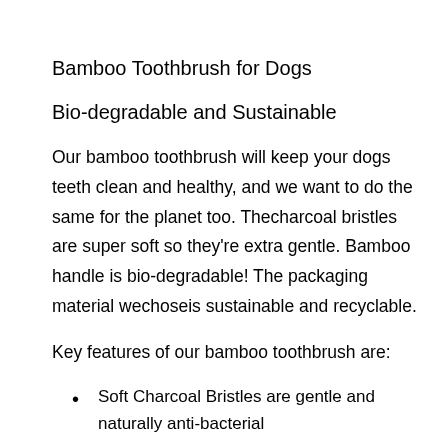Bamboo Toothbrush for Dogs
Bio-degradable and Sustainable
Our bamboo toothbrush will keep your dogs teeth clean and healthy, and we want to do the same for the planet too. Thecharcoal bristles are super soft so they're extra gentle. Bamboo handle is bio-degradable! The packaging material wechoseis sustainable and recyclable.
Key features of our bamboo toothbrush are:
Soft Charcoal Bristles are gentle and naturally anti-bacterial